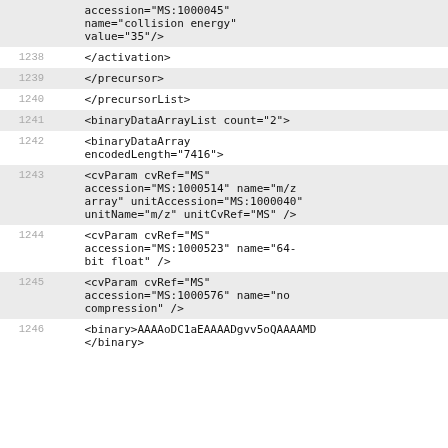cvParam cvRef="MS" accession="MS:1000045" name="collision energy" value="35"/>
1238    </activation>
1239    </precursor>
1240    </precursorList>
1241    <binaryDataArrayList count="2">
1242    <binaryDataArray encodedLength="7416">
1243    <cvParam cvRef="MS" accession="MS:1000514" name="m/z array" unitAccession="MS:1000040" unitName="m/z" unitCvRef="MS" />
1244    <cvParam cvRef="MS" accession="MS:1000523" name="64-bit float" />
1245    <cvParam cvRef="MS" accession="MS:1000576" name="no compression" />
1246    <binary>AAAAoDC1aEAAAADgvv5oQAAAAMD...</binary>